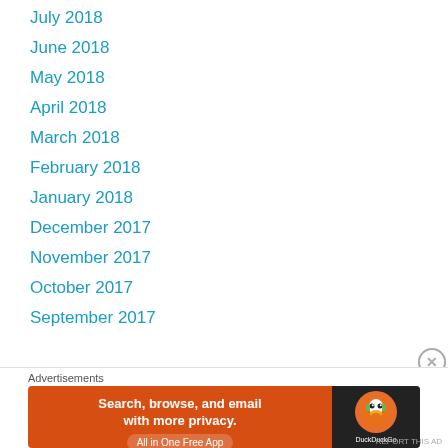July 2018
June 2018
May 2018
April 2018
March 2018
February 2018
January 2018
December 2017
November 2017
October 2017
September 2017
Advertisements
[Figure (other): DuckDuckGo advertisement banner: 'Search, browse, and email with more privacy. All in One Free App' with DuckDuckGo logo on dark background.]